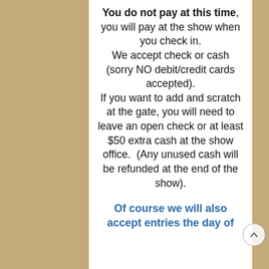You do not pay at this time, you will pay at the show when you check in. We accept check or cash (sorry NO debit/credit cards accepted). If you want to add and scratch at the gate, you will need to leave an open check or at least $50 extra cash at the show office.  (Any unused cash will be refunded at the end of the show).
Of course we will also accept entries the day of